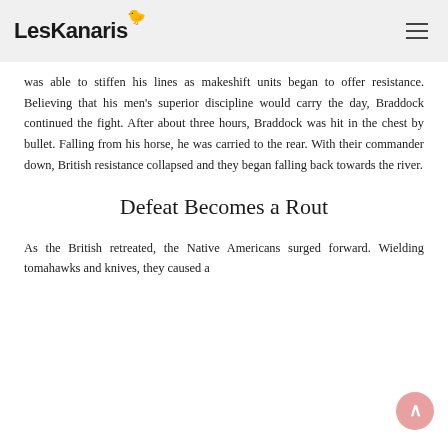LesKanaris
was able to stiffen his lines as makeshift units began to offer resistance. Believing that his men's superior discipline would carry the day, Braddock continued the fight. After about three hours, Braddock was hit in the chest by bullet. Falling from his horse, he was carried to the rear. With their commander down, British resistance collapsed and they began falling back towards the river.
Defeat Becomes a Rout
As the British retreated, the Native Americans surged forward. Wielding tomahawks and knives, they caused a